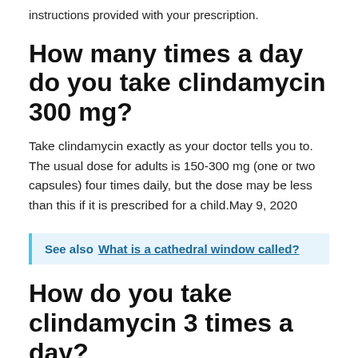instructions provided with your prescription.
How many times a day do you take clindamycin 300 mg?
Take clindamycin exactly as your doctor tells you to. The usual dose for adults is 150-300 mg (one or two capsules) four times daily, but the dose may be less than this if it is prescribed for a child.May 9, 2020
See also  What is a cathedral window called?
How do you take clindamycin 3 times a day?
Clindamycin comes as a capsule and a solution (liquid) to take